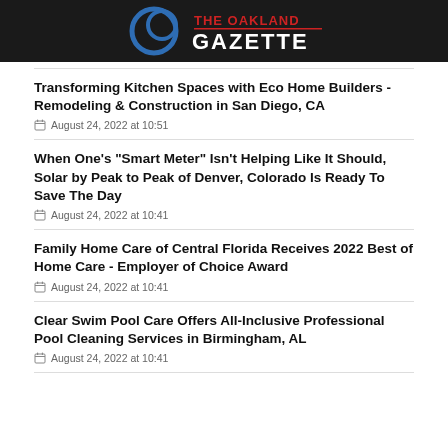The Oakland Gazette
Transforming Kitchen Spaces with Eco Home Builders - Remodeling & Construction in San Diego, CA
August 24, 2022 at 10:51
When One's "Smart Meter" Isn't Helping Like It Should, Solar by Peak to Peak of Denver, Colorado Is Ready To Save The Day
August 24, 2022 at 10:41
Family Home Care of Central Florida Receives 2022 Best of Home Care - Employer of Choice Award
August 24, 2022 at 10:41
Clear Swim Pool Care Offers All-Inclusive Professional Pool Cleaning Services in Birmingham, AL
August 24, 2022 at 10:41